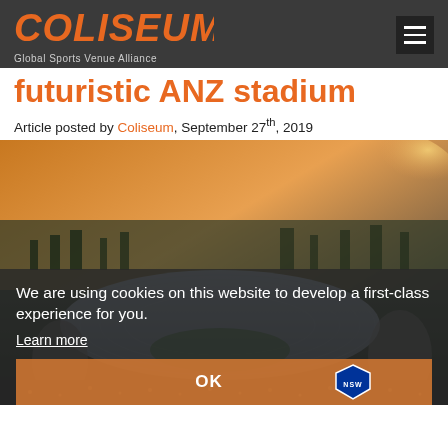COLISEUM – Global Sports Venue Alliance
futuristic ANZ stadium
Article posted by Coliseum, September 27th, 2019
[Figure (photo): Aerial rendering of futuristic ANZ stadium with curved roof structure, surrounded by cityscape at dusk]
We are using cookies on this website to develop a first-class experience for you. Learn more
OK